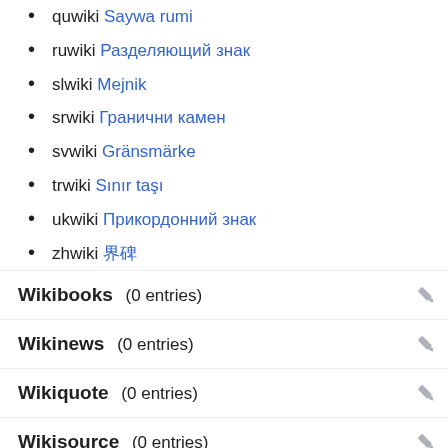quwiki Saywa rumi
ruwiki Разделяющий знак
slwiki Mejnik
srwiki Гранични камен
svwiki Gränsmärke
trwiki Sınır taşı
ukwiki Прикордонний знак
zhwiki 界碑
Wikibooks  (0 entries)
Wikinews  (0 entries)
Wikiquote  (0 entries)
Wikisource  (0 entries)
Wikiversity  (0 entries)